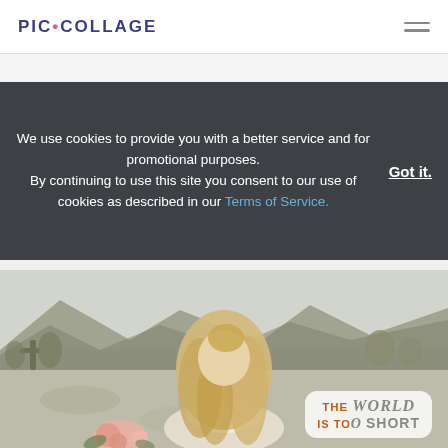PIC•COLLAGE
We use cookies to provide you with a better service and for promotional purposes.
By continuing to use this site you consent to our use of cookies as described in our Terms of Service.
Got it.
[Figure (photo): Woman with long wavy blonde hair seen from behind, holding pink roses, in a desert landscape with mountains in background. Text overlay in bottom right reads: THE world IS TOO SHORT]